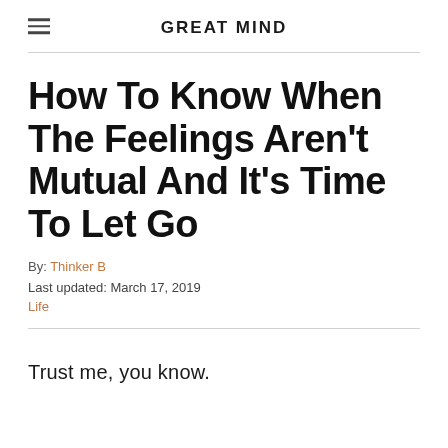GREAT MIND
How To Know When The Feelings Aren't Mutual And It's Time To Let Go
By: Thinker B
Last updated: March 17, 2019
Life
Trust me, you know.